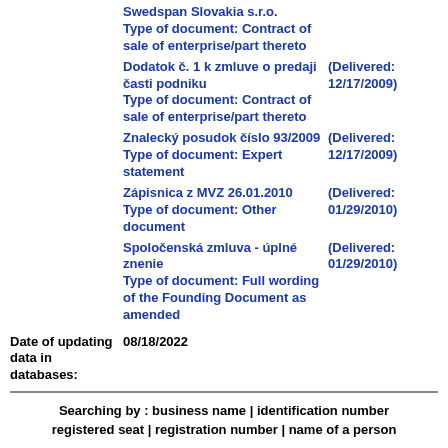Swedspan Slovakia s.r.o.
Type of document: Contract of sale of enterprise/part thereto
Dodatok č. 1 k zmluve o predaji časti podniku
Type of document: Contract of sale of enterprise/part thereto
(Delivered: 12/17/2009)
Znalecký posudok číslo 93/2009
Type of document: Expert statement
(Delivered: 12/17/2009)
Zápisnica z MVZ 26.01.2010
Type of document: Other document
(Delivered: 01/29/2010)
Spoločenská zmluva - úplné znenie
Type of document: Full wording of the Founding Document as amended
(Delivered: 01/29/2010)
Date of updating data in databases: 08/18/2022
Searching by : business name | identification number registered seat | registration number | name of a person